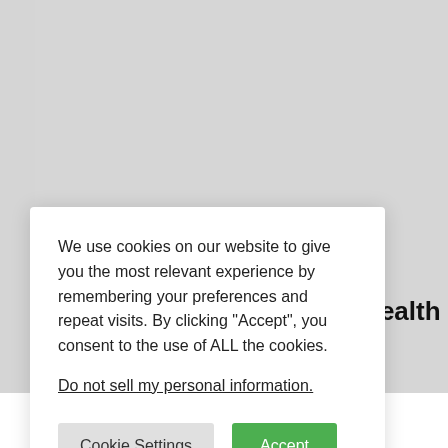[Figure (screenshot): Website background with gray content area visible behind cookie consent modal overlay]
d Health
We use cookies on our website to give you the most relevant experience by remembering your preferences and repeat visits. By clicking “Accept”, you consent to the use of ALL the cookies.
Do not sell my personal information.
Cookie Settings
Accept